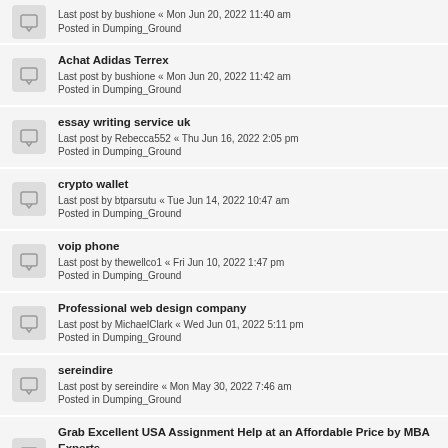Achat Adidas Terrex
Last post by bushione « Mon Jun 20, 2022 11:42 am
Posted in Dumping_Ground
essay writing service uk
Last post by Rebecca552 « Thu Jun 16, 2022 2:05 pm
Posted in Dumping_Ground
crypto wallet
Last post by btparsutu « Tue Jun 14, 2022 10:47 am
Posted in Dumping_Ground
voip phone
Last post by thewellco1 « Fri Jun 10, 2022 1:47 pm
Posted in Dumping_Ground
Professional web design company
Last post by MichaelClark « Wed Jun 01, 2022 5:11 pm
Posted in Dumping_Ground
sereindire
Last post by sereindire « Mon May 30, 2022 7:46 am
Posted in Dumping_Ground
Grab Excellent USA Assignment Help at an Affordable Price by MBA Experts
Last post by jassbrown « Sat May 21, 2022 12:39 pm
Posted in Dumping_Ground
action apks
Last post by NannieHumpus « Fri May 20, 2022 10:57 am
Posted in Dumping_Ground